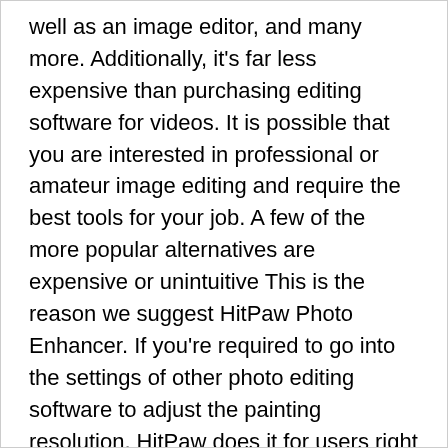well as an image editor, and many more. Additionally, it's far less expensive than purchasing editing software for videos. It is possible that you are interested in professional or amateur image editing and require the best tools for your job. A few of the more popular alternatives are expensive or unintuitive This is the reason we suggest HitPaw Photo Enhancer. If you're required to go into the settings of other photo editing software to adjust the painting resolution, HitPaw does it for users right from the start. Another great feature that can be used to get the most value out of the HitPaw Photo Enhancer.
Once you have placed an order, you'll receive lifetime updates for free. Yes, you are able to cancel your subscription at any time prior to the expiration date.
This is particularly true when you don't make edits to your photos frequently. HitPaw Photo Enhancer comes in to fill the gap perfectly. It's light in weight and offers just the same features as the more powerful apps.